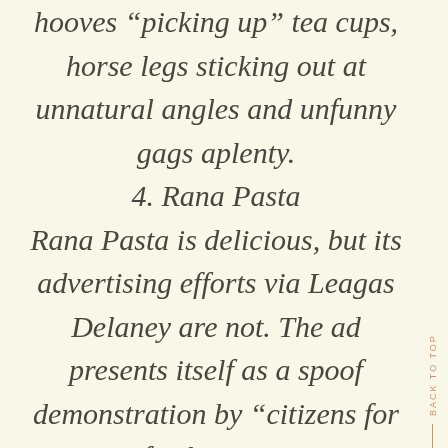hooves “picking up” tea cups, horse legs sticking out at unnatural angles and unfunny gags aplenty. 4. Rana Pasta Rana Pasta is delicious, but its advertising efforts via Leagas Delaney are not. The ad presents itself as a spoof demonstration by “citizens for fresh pasta”